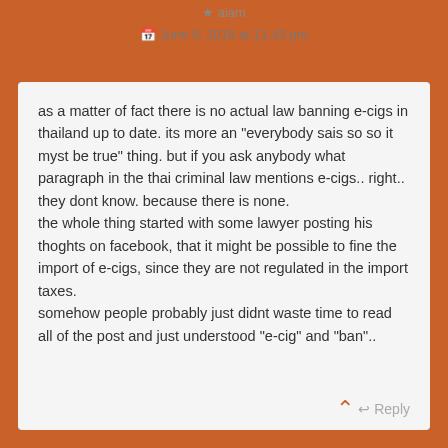aiam
June 9, 2019 at 11:43 pm
Permalink
as a matter of fact there is no actual law banning e-cigs in thailand up to date. its more an “everybody sais so so it myst be true” thing. but if you ask anybody what paragraph in the thai criminal law mentions e-cigs.. right.. they dont know. because there is none.
the whole thing started with some lawyer posting his thoghts on facebook, that it might be possible to fine the import of e-cigs, since they are not regulated in the import taxes.
somehow people probably just didnt waste time to read all of the post and just understood “e-cig” and “ban”..
Reply